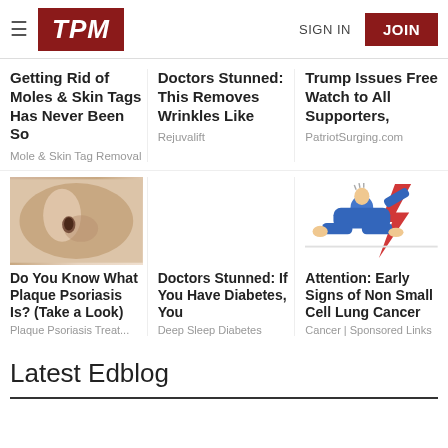TPM | SIGN IN | JOIN
Getting Rid of Moles & Skin Tags Has Never Been So
Mole & Skin Tag Removal
Doctors Stunned: This Removes Wrinkles Like
Rejuvalift
Trump Issues Free Watch to All Supporters,
PatriotSurging.com
[Figure (photo): Close-up photo of person touching a mole on skin]
[Figure (illustration): Illustration of person lying down in blue clothing with lightning bolt]
Do You Know What Plaque Psoriasis Is? (Take a Look)
Plaque Psoriasis Treat...
Doctors Stunned: If You Have Diabetes, You
Deep Sleep Diabetes
Attention: Early Signs of Non Small Cell Lung Cancer
Cancer | Sponsored Links
Latest Edblog